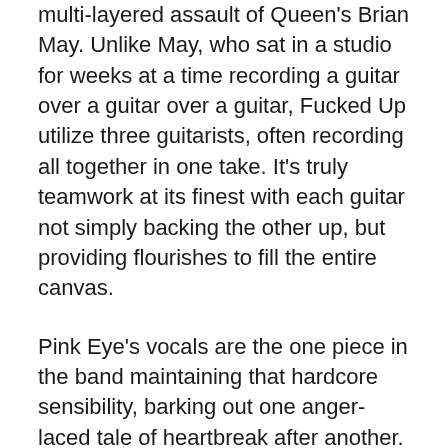multi-layered assault of Queen's Brian May. Unlike May, who sat in a studio for weeks at a time recording a guitar over a guitar over a guitar, Fucked Up utilize three guitarists, often recording all together in one take. It's truly teamwork at its finest with each guitar not simply backing the other up, but providing flourishes to fill the entire canvas.
Pink Eye's vocals are the one piece in the band maintaining that hardcore sensibility, barking out one anger-laced tale of heartbreak after another. Unlike “The Chemistry of Common People,” this album never rests to take a breath. It is one backbreaking anthem after another for 80 minutes straight. As you’d expect, this can be a bit daunting, yet it’s totally fulfilling (if you can survive the Armageddon).  Any other band would have cut out songs or saved half of them for the next album, but Fucked Up